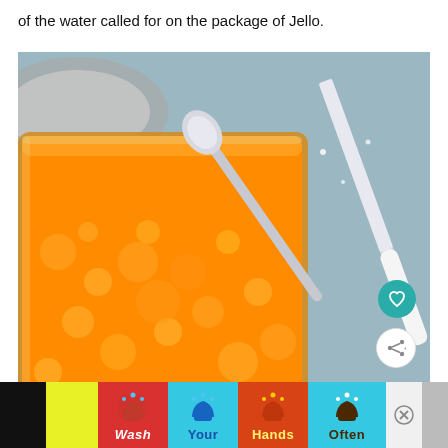of the water called for on the package of Jello.
[Figure (photo): Close-up photo of orange Jello salad with mandarin orange pieces in a glass baking dish, with a spoon and knife visible on a light blue surface in the background. Heart and share buttons overlay the bottom-right of the image.]
[Figure (infographic): Wash Your Hands Often public health advertisement banner with colorful hand-washing icons on yellow, cyan, and red backgrounds. Includes a close button and a right panel with an X icon.]